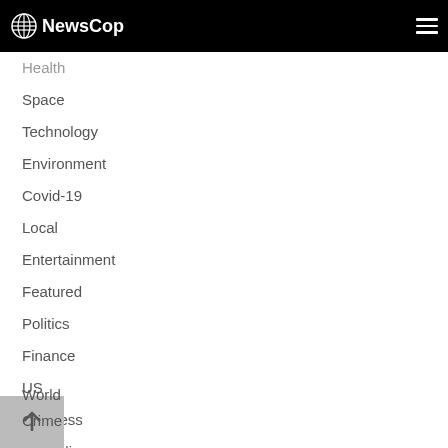NewsCop
Health
Space
Technology
Environment
Covid-19
Local
Entertainment
Featured
Politics
Finance
US
Business
Australia
Sports
World
Crime